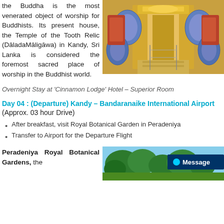the Buddha is the most venerated object of worship for Buddhists. Its present house, the Temple of the Tooth Relic (DāladaMāligāwa) in Kandy, Sri Lanka is considered the foremost sacred place of worship in the Buddhist world.
[Figure (photo): Interior of Temple of the Tooth Relic showing ornate corridor with arched murals and religious decorations]
Overnight Stay at 'Cinnamon Lodge' Hotel – Superior Room
Day 04 : (Departure) Kandy – Bandaranaike International Airport (Approx. 03 hour Drive)
After breakfast, visit Royal Botanical Garden in Peradeniya
Transfer to Airport for the Departure Flight
Peradeniya Royal Botanical Gardens, the
[Figure (photo): Peradeniya Royal Botanical Gardens with trees and blue sky, with a Message button overlay]